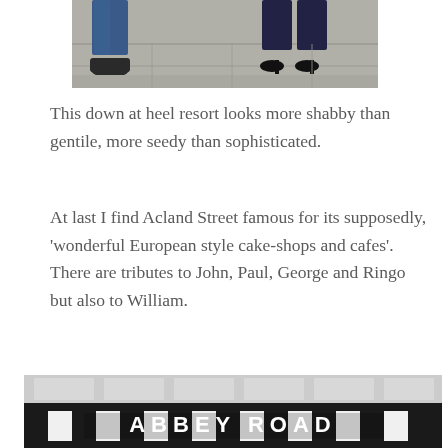[Figure (photo): Partial view of two people sitting, showing legs and feet on a pavement/sidewalk]
This down at heel resort looks more shabby than gentile, more seedy than sophisticated.
At last I find Acland Street famous for its supposedly, 'wonderful European style cake-shops and cafes'. There are tributes to John, Paul, George and Ringo but also to William.
[Figure (photo): Photo of the Abbey Road cafe storefront with black and white striped awning and large text reading ABBEY ROAD]